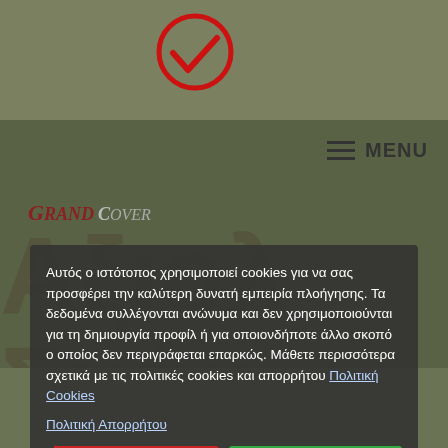[Figure (logo): GrandCover brand logo with red checkmark and Greek text watermark in background]
Αυτός ο ιστότοπος χρησιμοποιεί cookies για να σας προσφέρει την καλύτερη δυνατή εμπειρία πλοήγησης. Τα δεδομένα συλλέγονται ανώνυμα και δεν χρησιμοποιούνται για τη δημιουργία προφίλ ή για οποιονδήποτε άλλο σκοπό ο οποίος δεν περιγράφεται επαρκώς. Μάθετε περισσότερα σχετικά με τις πολιτικές cookies και απορρήτου Πολιτική Cookies
Πολιτική Απορρήτου
Απόρριψη
Αποδοχή
Ρυθμίσεις Cookies:
✓ Απαραίτητα | ✓ Προτιμήσεων | □ Στατιστικών | □ Marketing